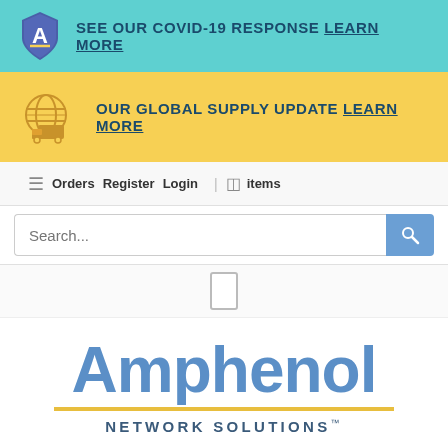SEE OUR COVID-19 RESPONSE LEARN MORE
OUR GLOBAL SUPPLY UPDATE LEARN MORE
Orders  Register  Login  |  items
Search...
[Figure (logo): Amphenol Network Solutions logo with blue text and gold underline]
Amphenol NETWORK SOLUTIONS™